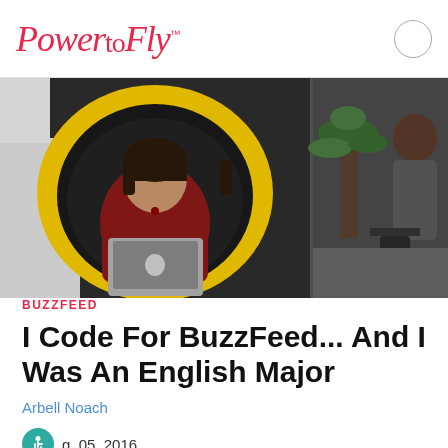PowerFly™
[Figure (photo): Woman sitting inside a large yellow egg-shaped pod chair working on a MacBook laptop in an office environment. Second person visible in background near plants and office chairs.]
BUZZFEED
I Code For BuzzFeed... And I Was An English Major
Arbell Noach
Aug. 05, 2016